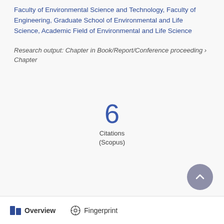Faculty of Environmental Science and Technology, Faculty of Engineering, Graduate School of Environmental and Life Science, Academic Field of Environmental and Life Science
Research output: Chapter in Book/Report/Conference proceeding › Chapter
[Figure (infographic): Citation count badge showing '6 Citations (Scopus)' in large blue numerals centered on the page]
Overview   Fingerprint